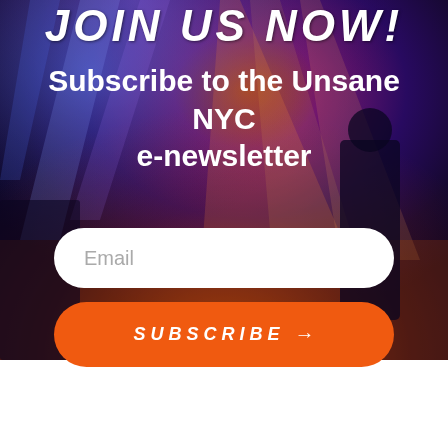JOIN US NOW!
Subscribe to the Unsane NYC e-newsletter
Email
SUBSCRIBE →